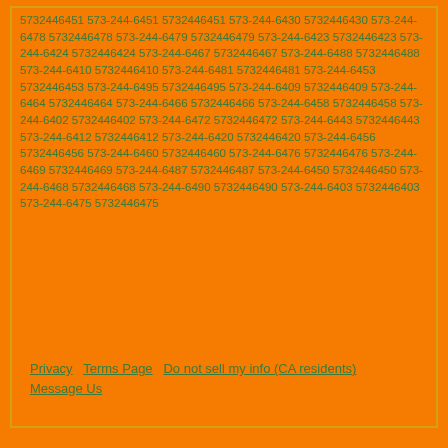5732446451 573-244-6451 5732446451 573-244-6430 5732446430 573-244-6478 5732446478 573-244-6479 5732446479 573-244-6423 5732446423 573-244-6424 5732446424 573-244-6467 5732446467 573-244-6488 5732446488 573-244-6410 5732446410 573-244-6481 5732446481 573-244-6453 5732446453 573-244-6495 5732446495 573-244-6409 5732446409 573-244-6464 5732446464 573-244-6466 5732446466 573-244-6458 5732446458 573-244-6402 5732446402 573-244-6472 5732446472 573-244-6443 5732446443 573-244-6412 5732446412 573-244-6420 5732446420 573-244-6456 5732446456 573-244-6460 5732446460 573-244-6476 5732446476 573-244-6469 5732446469 573-244-6487 5732446487 573-244-6450 5732446450 573-244-6468 5732446468 573-244-6490 5732446490 573-244-6403 5732446403 573-244-6475 5732446475
Privacy   Terms Page   Do not sell my info (CA residents)   Message Us